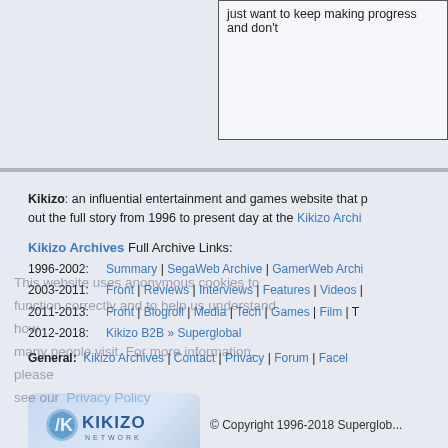just want to keep making progress and don't...
Kikizo: an influential entertainment and games website that p... out the full story from 1996 to present day at the Kikizo Archi...
Kikizo Archives Full Archive Links:
1996-2002: Summary | SegaWeb Archive | GamerWeb Archi...
2003-2011: Front | Reviews | Interviews | Features | Videos |...
2011-2013: Front | Blogroll | Media | Tech | Games | Film | T...
2012-2018: Kikizo B2B » Superglobal
This website uses anonymous cookies to function correctly and to help us understand how many people visit. For more information, please see our Privacy Policy
General: Kikizo Archives | Contact | Privacy | Forum | Facel...
[Figure (logo): Kikizo Network logo with stylized K and globe icon in blue tones]
© Copyright 1996-2018 Superglob...